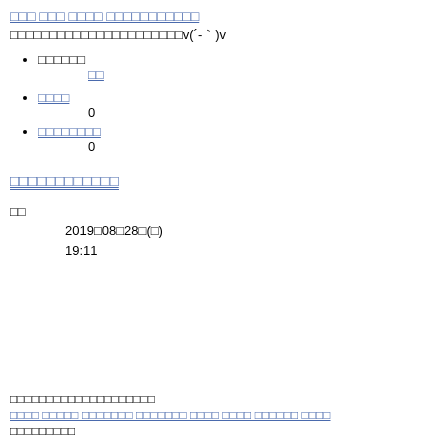□□□ □□□ □□□□ □□□□□□□□□□□
□□□□□□□□□□□□□□□□□□□□□□v(´-｀)v
□□□□□□
□□
□□□□
0
□□□□□□□□
0
□□□□□□□□□□□□
□□
2019□08□28□(□)
19:11
□□□□□□□□□□□□□□□□□□□□
□□□□ □□□□□ □□□□□□□ □□□□□□□ □□□□ □□□□ □□□□□□ □□□□
□□□□□□□□□